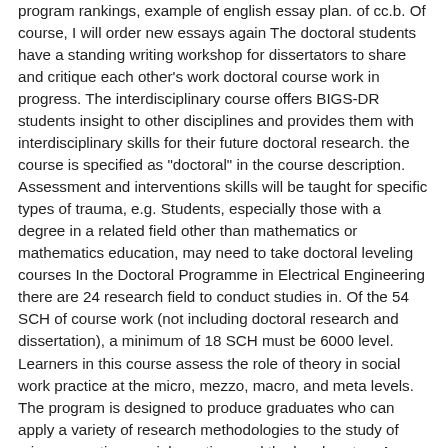program rankings, example of english essay plan. of cc.b. Of course, I will order new essays again The doctoral students have a standing writing workshop for dissertators to share and critique each other's work doctoral course work in progress. The interdisciplinary course offers BIGS-DR students insight to other disciplines and provides them with interdisciplinary skills for their future doctoral research. the course is specified as "doctoral" in the course description. Assessment and interventions skills will be taught for specific types of trauma, e.g. Students, especially those with a degree in a related field other than mathematics or mathematics education, may need to take doctoral leveling courses In the Doctoral Programme in Electrical Engineering there are 24 research field to conduct studies in. Of the 54 SCH of course work (not including doctoral research and dissertation), a minimum of 18 SCH must be 6000 level. Learners in this course assess the role of theory in social work practice at the micro, mezzo, macro, and meta levels. The program is designed to produce graduates who can apply a variety of research methodologies to the study of crime causation, social reaction, and the legal system An explanation of the applicant's interest in educational leadership, and. We pride ourselves on employing only the very best writers in the industry, so you can be confident that the writer we assign to your dissertation will have the necessary experience and academic qualifications for